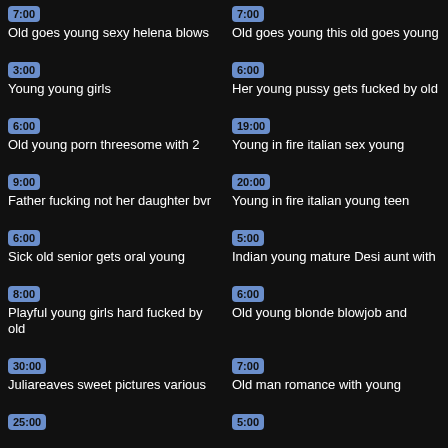7:00 Old goes young sexy helena blows
7:00 Old goes young this old goes young
3:00 Young young girls
6:00 Her young pussy gets fucked by old
6:00 Old young porn threesome with 2
19:00 Young in fire italian sex young
9:00 Father fucking not her daughter bvr
20:00 Young in fire italian young teen
6:00 Sick old senior gets oral young
5:00 Indian young mature Desi aunt with
8:00 Playful young girls hard fucked by old
6:00 Old young blonde blowjob and
30:00 Juliareaves sweet pictures various
7:00 Old man romance with young
25:00
5:00